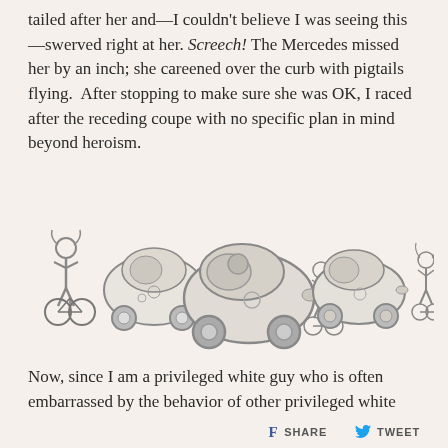tailed after her and—I couldn't believe I was seeing this—swerved right at her. Screech! The Mercedes missed her by an inch; she careened over the curb with pigtails flying.  After stopping to make sure she was OK, I raced after the receding coupe with no specific plan in mind beyond heroism.
[Figure (illustration): A pencil sketch illustration showing three scenes: on the left, a girl on a bicycle next to a small round car; in the center, a larger view of the round car nearly hitting the girl on the bicycle; on the right, the car driving away while the girl on bicycle is to the far right, having veered off.]
Now, since I am a privileged white guy who is often embarrassed by the behavior of other privileged white guys, I assumed the driver was going to be some white dude from
SHARE   TWEET